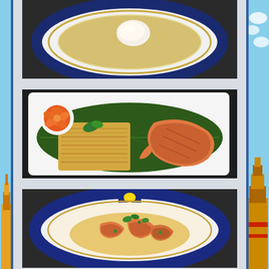[Figure (photo): Top-down view of a white bowl with navy blue rim on dark surface, containing clear broth soup with a white garnish in the center.]
[Figure (photo): A plate with a banana leaf, featuring a square serving of pad thai noodles garnished with basil, alongside a large grilled shrimp, with a carved carrot rose garnish on a white plate.]
[Figure (photo): A blue-rimmed white plate with royal crest, containing shrimp in a creamy sauce garnished with herbs.]